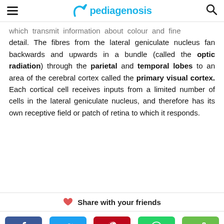pediagenosis
which transmit information about colour and fine detail. The fibres from the lateral geniculate nucleus fan backwards and upwards in a bundle (called the optic radiation) through the parietal and temporal lobes to an area of the cerebral cortex called the primary visual cortex. Each cortical cell receives inputs from a limited number of cells in the lateral geniculate nucleus, and therefore has its own receptive field or patch of retina to which it responds.
Share with your friends